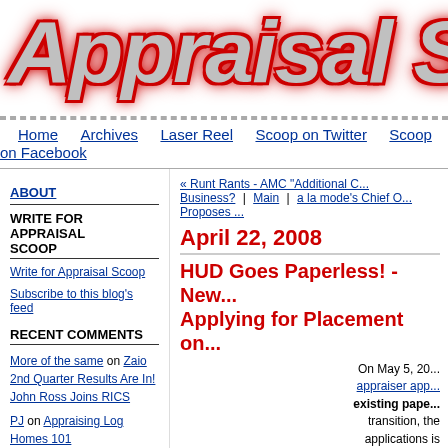Appraisal S[coop] - logo header
Home | Archives | Laser Reel | Scoop on Twitter | Scoop on Facebook
ABOUT
WRITE FOR APPRAISAL SCOOP
Write for Appraisal Scoop
Subscribe to this blog's feed
RECENT COMMENTS
More of the same on Zaio 2nd Quarter Results Are In! John Ross Joins RICS
PJ on Appraising Log Homes 101
Jeanne McDonald on The 1004D - Appraisal Update and/or Completion Report - Uses and Misuses
« Runt Rants - AMC "Additional C... Business? | Main | a la mode's Chief O... Proposes ...
April 22, 2008
HUD Goes Paperless! - New... Applying for Placement on...
On May 5, 20... appraiser app... existing pape... transition, the applications is or time dated will not be pr...